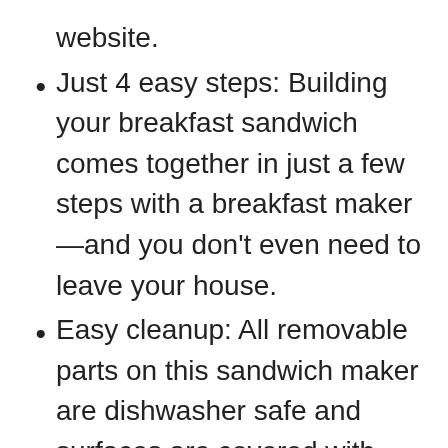website.
Just 4 easy steps: Building your breakfast sandwich comes together in just a few steps with a breakfast maker—and you don't even need to leave your house.
Easy cleanup: All removable parts on this sandwich maker are dishwasher safe and surfaces are covered with durable, nonstick coating.
Great gift: Perfect gift for the holidays, Christmas, birthdays, father's day, mother's day